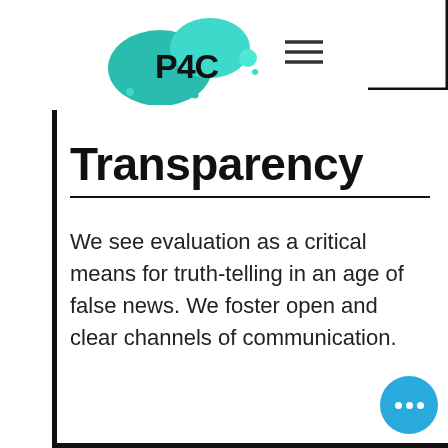[Figure (logo): P4C logo with teal/turquoise bubble shapes and bold text 'P4C']
Transparency
We see evaluation as a critical means for truth-telling in an age of false news. We foster open and clear channels of communication.